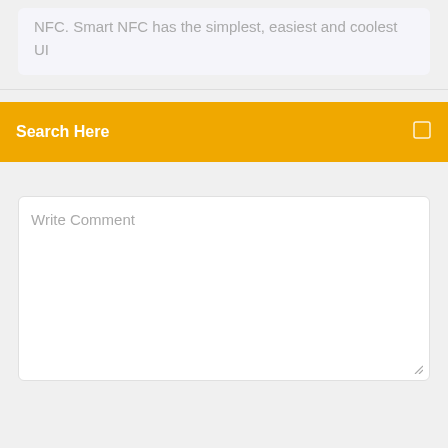NFC. Smart NFC has the simplest, easiest and coolest UI
Search Here
Write Comment